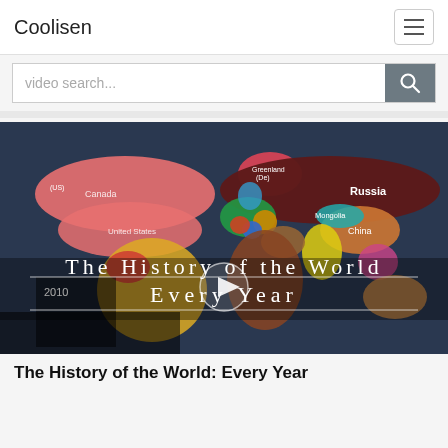Coolisen
video search...
[Figure (screenshot): Video thumbnail showing a colorful world map with countries labeled including Russia, China, Canada, United States, Brazil. Title overlay reads 'The History of the World Every Year' with a play button in the center.]
The History of the World: Every Year